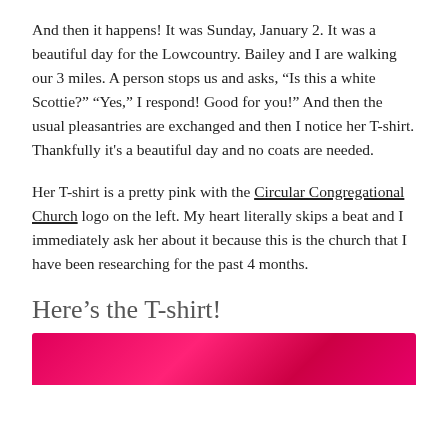And then it happens! It was Sunday, January 2. It was a beautiful day for the Lowcountry. Bailey and I are walking our 3 miles. A person stops us and asks, “Is this a white Scottie?” “Yes,” I respond! Good for you!” And then the usual pleasantries are exchanged and then I notice her T-shirt. Thankfully it's a beautiful day and no coats are needed.
Her T-shirt is a pretty pink with the Circular Congregational Church logo on the left. My heart literally skips a beat and I immediately ask her about it because this is the church that I have been researching for the past 4 months.
Here’s the T-shirt!
[Figure (photo): Bottom portion of a bright pink/magenta T-shirt fabric visible, cropped at the bottom of the page.]